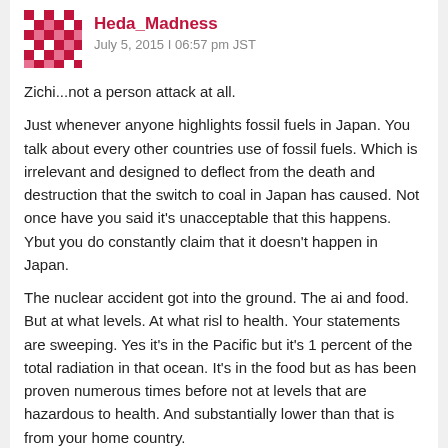Heda_Madness — July 5, 2015 | 06:57 pm JST
Zichi...not a person attack at all.
Just whenever anyone highlights fossil fuels in Japan. You talk about every other countries use of fossil fuels. Which is irrelevant and designed to deflect from the death and destruction that the switch to coal in Japan has caused. Not once have you said it's unacceptable that this happens. Ybut you do constantly claim that it doesn't happen in Japan.
The nuclear accident got into the ground. The ai and food. But at what levels. At what risl to health. Your statements are sweeping. Yes it's in the Pacific but it's 1 percent of the total radiation in that ocean. It's in the food but as has been proven numerous times before not at levels that are hazardous to health. And substantially lower than that is from your home country.
Your argument is nuclear is bad. It's on a par with saying per die when they fly.
Safest form of travel. Safest form of power.